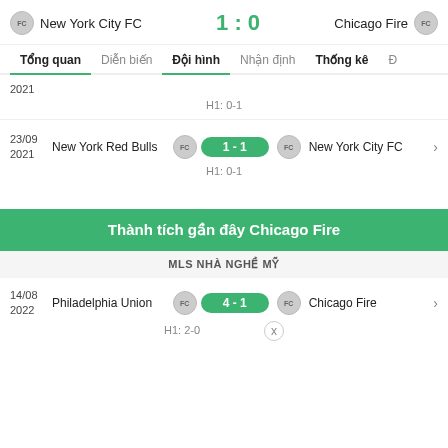New York City FC  1 : 0  Chicago Fire
Tổng quan | Diễn biến | Đội hình | Nhận định | Thống kê
2021
H1: 0-1
23/09 2021  New York Red Bulls  1 - 1  New York City FC
H1: 0-1
Thành tích gần đây Chicago Fire
MLS NHÀ NGHỀ MỸ
14/08 2022  Philadelphia Union  4 - 1  Chicago Fire
H1: 2-0